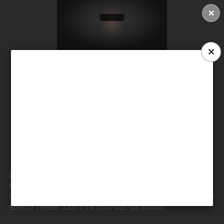[Figure (photo): Movie poster showing a person with dark makeup, text reads 'MATT REEVES WILL RETURN TO']
[Figure (other): White modal/popup dialog box overlaying the page content, with a circular X close button in the top right corner]
and ridiculous, therefore funny, such as Sharknado and Snakes On A Plane. The following movies were meant to be taken seriously. These movies would be worthy of an episode of Mystery Science Theater 3000 if the show was still around.